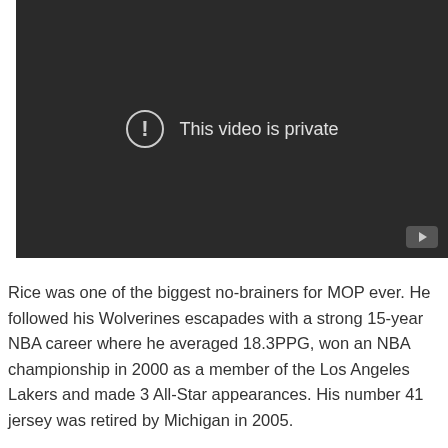[Figure (screenshot): YouTube video embed showing 'This video is private' error message with exclamation icon on a dark background, with a YouTube play button in the bottom right corner.]
Rice was one of the biggest no-brainers for MOP ever. He followed his Wolverines escapades with a strong 15-year NBA career where he averaged 18.3PPG, won an NBA championship in 2000 as a member of the Los Angeles Lakers and made 3 All-Star appearances. His number 41 jersey was retired by Michigan in 2005.